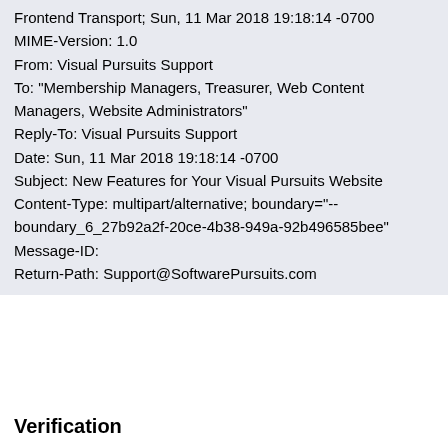Frontend Transport; Sun, 11 Mar 2018 19:18:14 -0700
MIME-Version: 1.0
From: Visual Pursuits Support
To: "Membership Managers, Treasurer, Web Content Managers, Website Administrators"
Reply-To: Visual Pursuits Support
Date: Sun, 11 Mar 2018 19:18:14 -0700
Subject: New Features for Your Visual Pursuits Website
Content-Type: multipart/alternative; boundary="--boundary_6_27b92a2f-20ce-4b38-949a-92b496585bee"
Message-ID:
Return-Path: Support@SoftwarePursuits.com
Verification